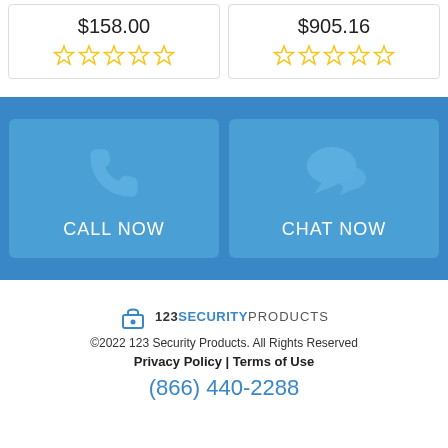$158.00
[Figure (illustration): 5 empty gold star rating icons]
$905.16
[Figure (illustration): 5 empty gold star rating icons]
[Figure (infographic): Blue banner with two buttons: CALL NOW (phone icon) and CHAT NOW (speech bubble icon)]
[Figure (logo): 123 Security Products logo with padlock icon]
©2022 123 Security Products. All Rights Reserved
Privacy Policy | Terms of Use
(866) 440-2288